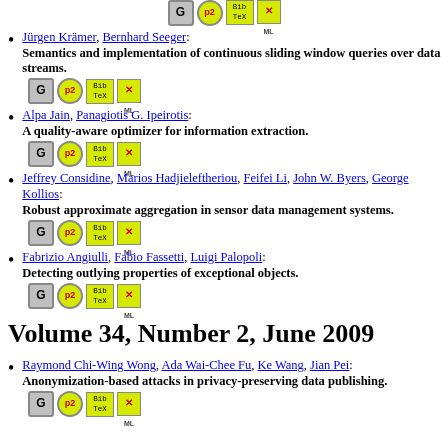[Figure (other): Icons row (G, P2, BibTeX, XML) at top]
Jürgen Krämer, Bernhard Seeger: Semantics and implementation of continuous sliding window queries over data streams.
Alpa Jain, Panagiotis G. Ipeirotis: A quality-aware optimizer for information extraction.
Jeffrey Considine, Marios Hadjieleftheriou, Feifei Li, John W. Byers, George Kollios: Robust approximate aggregation in sensor data management systems.
Fabrizio Angiulli, Fabio Fassetti, Luigi Palopoli: Detecting outlying properties of exceptional objects.
Volume 34, Number 2, June 2009
Raymond Chi-Wing Wong, Ada Wai-Chee Fu, Ke Wang, Jian Pei: Anonymization-based attacks in privacy-preserving data publishing.